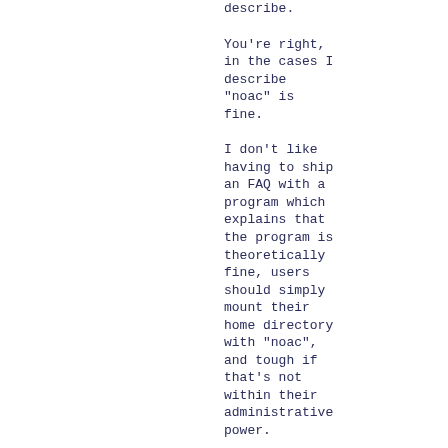describe.
You're right, in the cases I describe "noac" is fine.
I don't like having to ship an FAQ with a program which explains that the program is theoretically fine, users should simply mount their home directory with "noac", and tough if that's not within their administrative power.
I'd rather make the program work correctly with the default